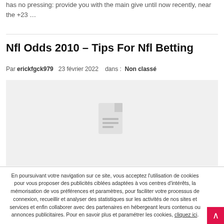has no pressing: provide you with the main give until now recently, near the +23 …
Nfl Odds 2010 – Tips For Nfl Betting
Par erickfgck979   23 février 2022   dans : Non classé
[Figure (other): Gray placeholder image with a document/file icon in the center]
En poursuivant votre navigation sur ce site, vous acceptez l'utilisation de cookies pour vous proposer des publicités ciblées adaptées à vos centres d'intérêts, la mémorisation de vos préférences et paramètres, pour faciliter votre processus de connexion, recueillir et analyser des statistiques sur les activités de nos sites et services et enfin collaborer avec des partenaires en hébergeant leurs contenus ou annonces publicitaires. Pour en savoir plus et paramétrer les cookies, cliquez ici.